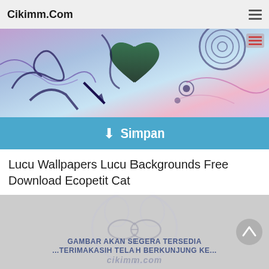Cikimm.Com
[Figure (illustration): Website banner with colorful abstract design featuring hearts, swirls, and decorative circles on a pastel purple, blue, and pink background]
⬇ Simpan
Lucu Wallpapers Lucu Backgrounds Free Download Ecopetit Cat
[Figure (illustration): Gray placeholder image with text 'GAMBAR AKAN SEGERA TERSEDIA ...TERIMAKASIH TELAH BERKUNJUNG KE...' and cikimm.com watermark, with a scroll-to-top button on the right]